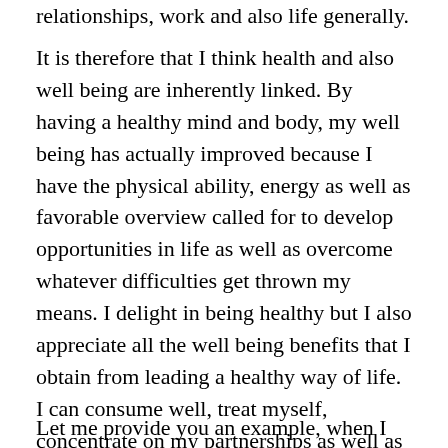relationships, work and also life generally.
It is therefore that I think health and also well being are inherently linked. By having a healthy mind and body, my well being has actually improved because I have the physical ability, energy as well as favorable overview called for to develop opportunities in life as well as overcome whatever difficulties get thrown my means. I delight in being healthy but I also appreciate all the well being benefits that I obtain from leading a healthy way of life. I can consume well, treat myself, concentrate on my partnerships as well as accomplish a great deal in life because of the all-natural energy I obtain from being fit and healthy.
Let me provide you an example, when I am really